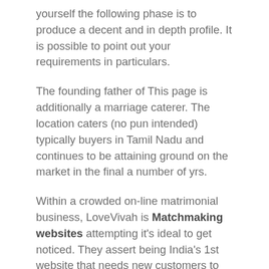yourself the following phase is to produce a decent and in depth profile. It is possible to point out your requirements in particulars.
The founding father of This page is additionally a marriage caterer. The location caters (no pun intended) typically buyers in Tamil Nadu and continues to be attaining ground on the market in the final a number of yrs.
Within a crowded on-line matrimonial business, LoveVivah is Matchmaking websites attempting it's ideal to get noticed. They assert being India's 1st website that needs new customers to validate their profile making use of Adhaar.
REPORT THIS PAGE